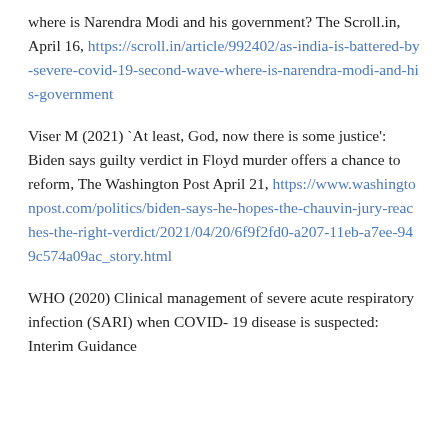where is Narendra Modi and his government? The Scroll.in, April 16, https://scroll.in/article/992402/as-india-is-battered-by-severe-covid-19-second-wave-where-is-narendra-modi-and-his-government
Viser M (2021) `At least, God, now there is some justice': Biden says guilty verdict in Floyd murder offers a chance to reform, The Washington Post April 21, https://www.washingtonpost.com/politics/biden-says-he-hopes-the-chauvin-jury-reaches-the-right-verdict/2021/04/20/6f9f2fd0-a207-11eb-a7ee-949c574a09ac_story.html
WHO (2020) Clinical management of severe acute respiratory infection (SARI) when COVID-19 disease is suspected: Interim Guidance